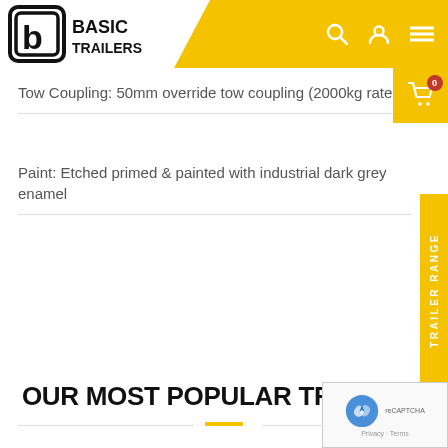Basic Trailers
Tow Coupling: 50mm override tow coupling (2000kg rated)
Paint: Etched primed & painted with industrial dark grey enamel
OUR MOST POPULAR TRAILERS